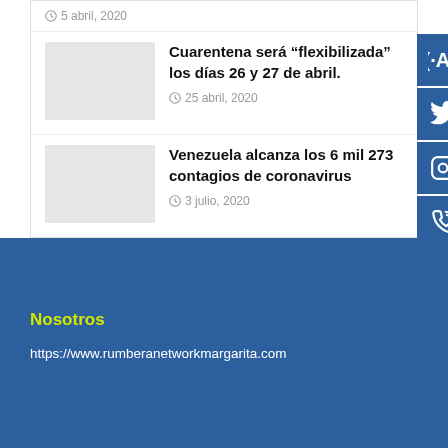5 abril, 2020
Cuarentena será “flexibilizada” los días 26 y 27 de abril.
25 abril, 2020
Venezuela alcanza los 6 mil 273 contagios de coronavirus
3 julio, 2020
Nosotros
https://www.rumberanetworkmargarita.com